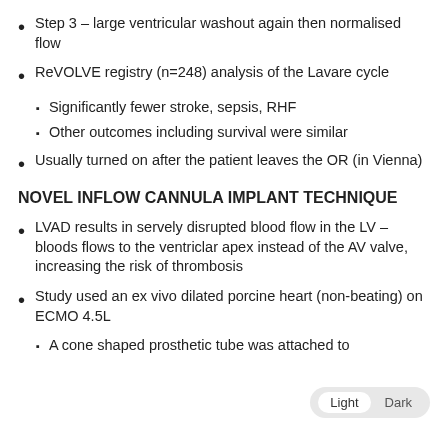Step 3 – large ventricular washout again then normalised flow
ReVOLVE registry (n=248) analysis of the Lavare cycle
Significantly fewer stroke, sepsis, RHF
Other outcomes including survival were similar
Usually turned on after the patient leaves the OR (in Vienna)
NOVEL INFLOW CANNULA IMPLANT TECHNIQUE
LVAD results in servely disrupted blood flow in the LV – bloods flows to the ventriclar apex instead of the AV valve, increasing the risk of thrombosis
Study used an ex vivo dilated porcine heart (non-beating) on ECMO 4.5L
A cone shaped prosthetic tube was attached to